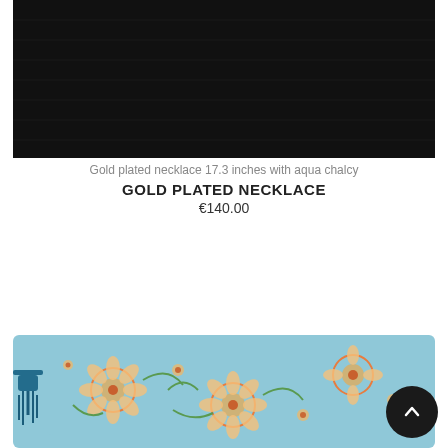[Figure (photo): Dark black fabric or textile product photo at top of page]
Gold plated necklace 17.3 inches with aqua chalcy
GOLD PLATED NECKLACE
€140.00
[Figure (photo): Floral patterned cosmetic bag or pouch with blue tassel zipper pull, light blue background with orange and gold floral print]